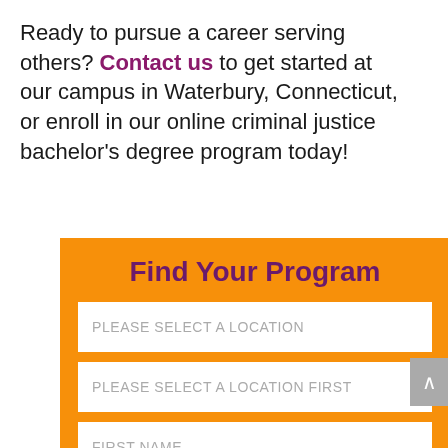Ready to pursue a career serving others? Contact us to get started at our campus in Waterbury, Connecticut, or enroll in our online criminal justice bachelor's degree program today!
Find Your Program
PLEASE SELECT A LOCATION
PLEASE SELECT A LOCATION FIRST
FIRST NAME
LAST NAME